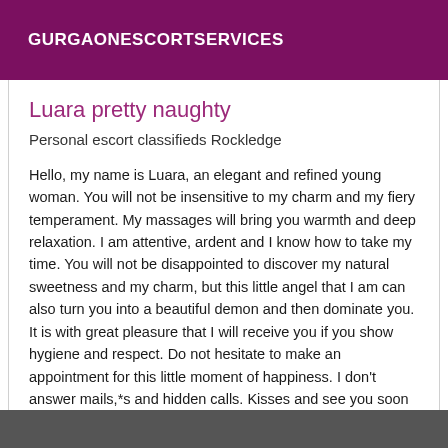GURGAONESCORTSERVICES
Luara pretty naughty
Personal escort classifieds Rockledge
Hello, my name is Luara, an elegant and refined young woman. You will not be insensitive to my charm and my fiery temperament. My massages will bring you warmth and deep relaxation. I am attentive, ardent and I know how to take my time. You will not be disappointed to discover my natural sweetness and my charm, but this little angel that I am can also turn you into a beautiful demon and then dominate you. It is with great pleasure that I will receive you if you show hygiene and respect. Do not hesitate to make an appointment for this little moment of happiness. I don't answer mails,*s and hidden calls. Kisses and see you soon ...